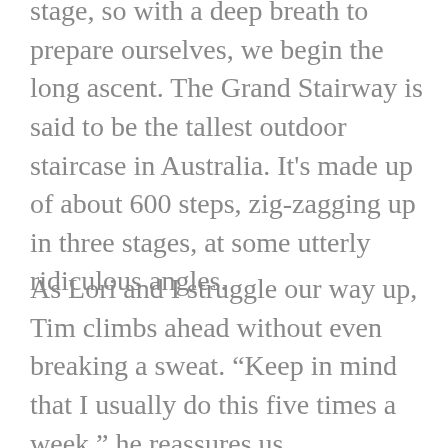But we have to take on the stairs at some stage, so with a deep breath to prepare ourselves, we begin the long ascent. The Grand Stairway is said to be the tallest outdoor staircase in Australia. It’s made up of about 600 steps, zig-zagging up in three stages, at some utterly ridiculous angles.
As Lori and I struggle our way up, Tim climbs ahead without even breaking a sweat. “Keep in mind that I usually do this five times a week,” he reassures us.
Looking for excuses to stop for breaks on the way up, it’s not long before we find a Water dragon sitting on a rock beside the steps. I spend far longer than I usually would, trying